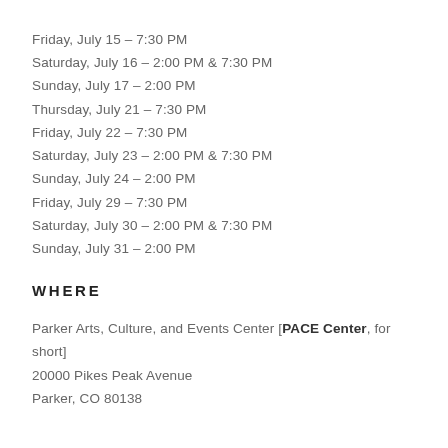Friday, July 15 – 7:30 PM
Saturday, July 16 – 2:00 PM & 7:30 PM
Sunday, July 17 – 2:00 PM
Thursday, July 21 – 7:30 PM
Friday, July 22 – 7:30 PM
Saturday, July 23 – 2:00 PM & 7:30 PM
Sunday, July 24 – 2:00 PM
Friday, July 29 – 7:30 PM
Saturday, July 30 – 2:00 PM & 7:30 PM
Sunday, July 31 – 2:00 PM
WHERE
Parker Arts, Culture, and Events Center [PACE Center, for short]
20000 Pikes Peak Avenue
Parker, CO 80138